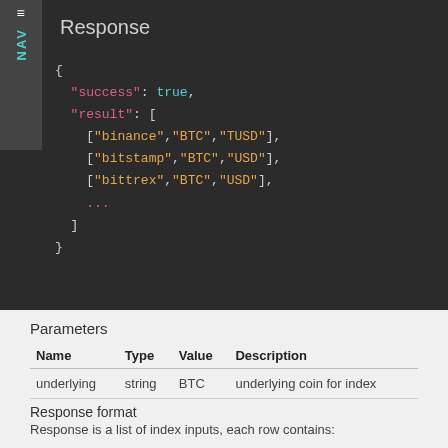Response
{
  "success": true,
  "result": [
    ["binance","BTC","TUSD"],
    ["bitstamp","BTC","USD"],
    ["bittrex","BTC","USD"],
    ...
  ]
}
Parameters
| Name | Type | Value | Description |
| --- | --- | --- | --- |
| underlying | string | BTC | underlying coin for index |
Response format
Response is a list of index inputs, each row contains: